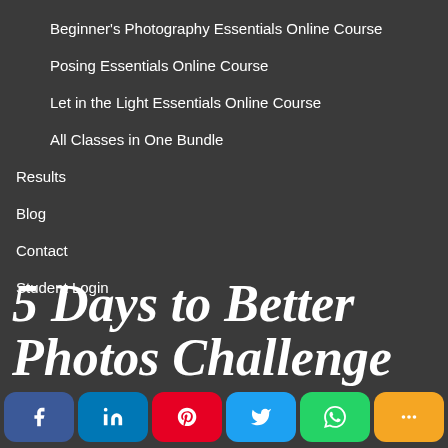Beginner's Photography Essentials Online Course
Posing Essentials Online Course
Let in the Light Essentials Online Course
All Classes in One Bundle
Results
Blog
Contact
Student Login
5 Days to Better Photos Challenge